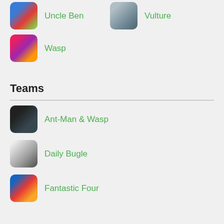Uncle Ben
Vulture
Wasp
Teams
Ant-Man & Wasp
Avengers
Daily Bugle
Enforcers
Fantastic Four
New York Police Department
Sinister Six
X-Men
Locations